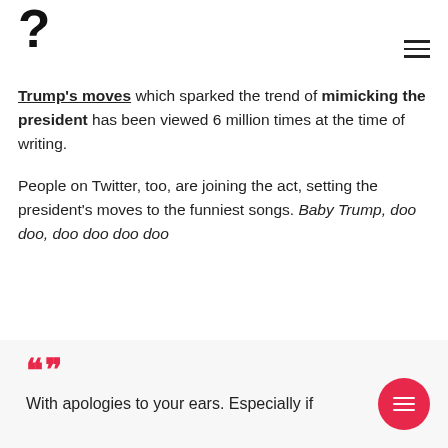[Figure (logo): Stylized question mark and exclamation mark logo]
Trump's moves which sparked the trend of mimicking the president has been viewed 6 million times at the time of writing.
People on Twitter, too, are joining the act, setting the president's moves to the funniest songs. Baby Trump, doo doo, doo doo doo doo
With apologies to your ears. Especially if